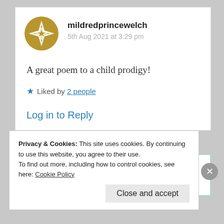[Figure (illustration): Round golden avatar with geometric star/compass rose pattern in white on gold background]
mildredprincewelch
5th Aug 2021 at 3:29 pm
A great poem to a child prodigy!
★ Liked by 2 people
Log in to Reply
Privacy & Cookies: This site uses cookies. By continuing to use this website, you agree to their use.
To find out more, including how to control cookies, see here: Cookie Policy
Close and accept